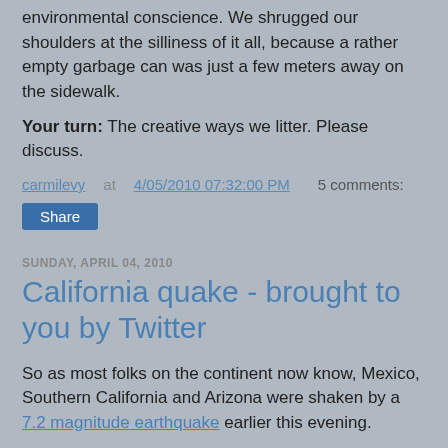environmental conscience. We shrugged our shoulders at the silliness of it all, because a rather empty garbage can was just a few meters away on the sidewalk.
Your turn: The creative ways we litter. Please discuss.
carmilevy at 4/05/2010 07:32:00 PM   5 comments:
Share
SUNDAY, APRIL 04, 2010
California quake - brought to you by Twitter
So as most folks on the continent now know, Mexico, Southern California and Arizona were shaken by a 7.2 magnitude earthquake earlier this evening.
Or do they?
Whenever a given news event is significant enough, many of